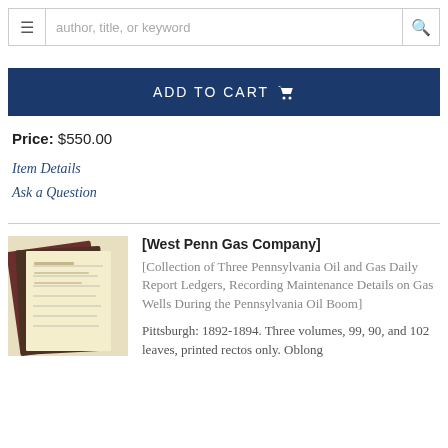author, title, or keyword
ADD TO CART
Price: $550.00
Item Details
Ask a Question
[Figure (photo): Photo of three antique ledger books stacked, with handwritten text visible on covers and pages]
[West Penn Gas Company]
[Collection of Three Pennsylvania Oil and Gas Daily Report Ledgers, Recording Maintenance Details on Gas Wells During the Pennsylvania Oil Boom]
Pittsburgh: 1892-1894. Three volumes, 99, 90, and 102 leaves, printed rectos only. Oblong